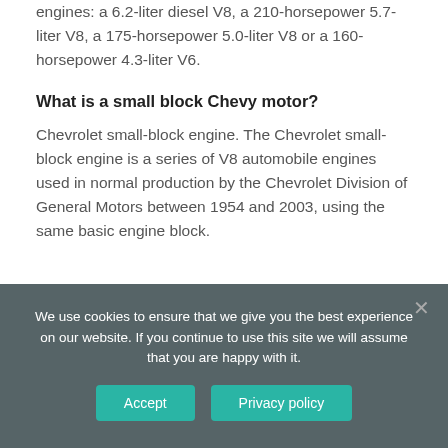engines: a 6.2-liter diesel V8, a 210-horsepower 5.7-liter V8, a 175-horsepower 5.0-liter V8 or a 160-horsepower 4.3-liter V6.
What is a small block Chevy motor?
Chevrolet small-block engine. The Chevrolet small-block engine is a series of V8 automobile engines used in normal production by the Chevrolet Division of General Motors between 1954 and 2003, using the same basic engine block.
We use cookies to ensure that we give you the best experience on our website. If you continue to use this site we will assume that you are happy with it.